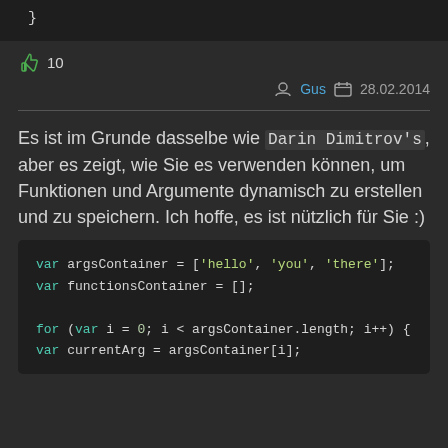[Figure (screenshot): Top code block showing closing brace on dark background]
👍 10
Gus  28.02.2014
Es ist im Grunde dasselbe wie Darin Dimitrov's, aber es zeigt, wie Sie es verwenden können, um Funktionen und Argumente dynamisch zu erstellen und zu speichern. Ich hoffe, es ist nützlich für Sie :)
[Figure (screenshot): Code block: var argsContainer = ['hello', 'you', 'there']; var functionsContainer = []; for (var i = 0; i < argsContainer.length; i++) { var currentArg = argsContainer[i];]